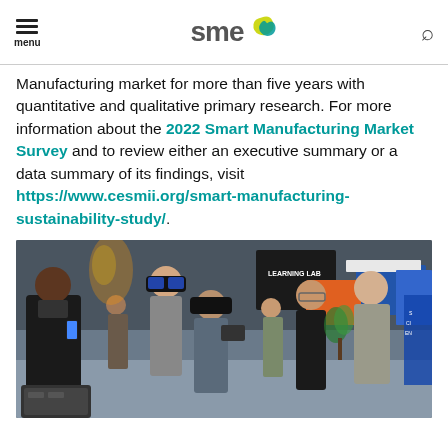SME logo, menu, search
Manufacturing market for more than five years with quantitative and qualitative primary research. For more information about the 2022 Smart Manufacturing Market Survey and to review either an executive summary or a data summary of its findings, visit https://www.cesmii.org/smart-manufacturing-sustainability-study/.
[Figure (photo): Group of people at a manufacturing trade show/exhibition floor, one person wearing AR/VR headset goggles, others watching. Background shows exhibition booths and banners.]